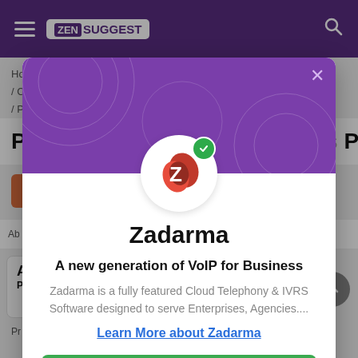ZEN SUGGEST
Home / Compu / Precod
Precode Technology Solutions Private
Ab  Writ & Revie  Admi  Us >
Zadarma
A new generation of VoIP for Business
Zadarma is a fully featured Cloud Telephony & IVRS Software designed to serve Enterprises, Agencies....
Learn More about Zadarma
Visit Website ↗
Pr code Technology Solutions Private Limited a